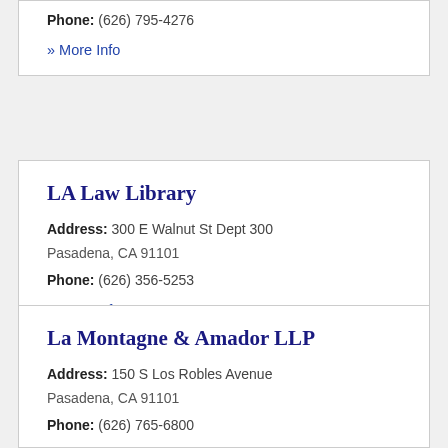Phone: (626) 795-4276
» More Info
LA Law Library
Address: 300 E Walnut St Dept 300 Pasadena, CA 91101
Phone: (626) 356-5253
» More Info
La Montagne & Amador LLP
Address: 150 S Los Robles Avenue Pasadena, CA 91101
Phone: (626) 765-6800
» More Info